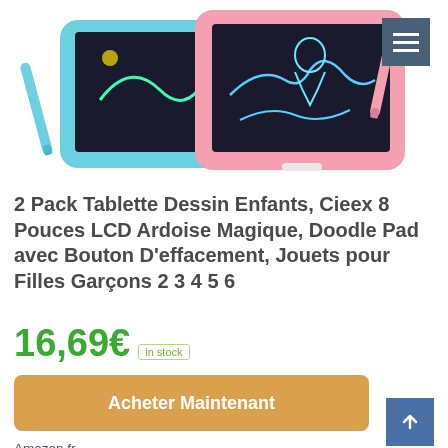[Figure (photo): Two LCD drawing tablets for children — one with blue frame and one with pink frame — each with a stylus, displayed on white background]
2 Pack Tablette Dessin Enfants, Cieex 8 Pouces LCD Ardoise Magique, Doodle Pad avec Bouton D'effacement, Jouets pour Filles Garçons 2 3 4 5 6
16,69€ in stock
Acheter Maintenant
Amazon.fr
as of août 17, 2022 11:45